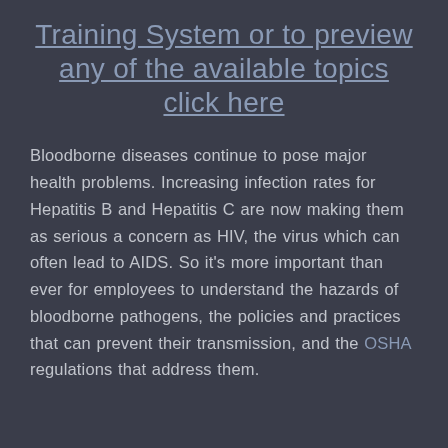Training System or to preview any of the available topics click here
Bloodborne diseases continue to pose major health problems. Increasing infection rates for Hepatitis B and Hepatitis C are now making them as serious a concern as HIV, the virus which can often lead to AIDS. So it's more important than ever for employees to understand the hazards of bloodborne pathogens, the policies and practices that can prevent their transmission, and the OSHA regulations that address them.